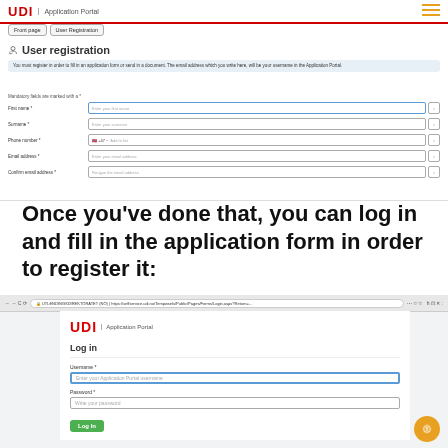[Figure (screenshot): Screenshot of UDI Application Portal User Registration page showing a form with fields for First name, Surname, Phone number, Email address, and Confirm email address]
Once you've done that, you can log in and fill in the application form in order to register it:
[Figure (screenshot): Screenshot of UDI Application Portal Login page showing Username and Password fields and a Log In button]